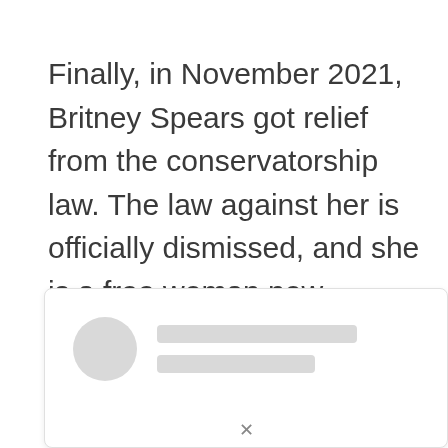Finally, in November 2021, Britney Spears got relief from the conservatorship law. The law against her is officially dismissed, and she is a free woman now.
[Figure (screenshot): A loading/placeholder card with a circular avatar placeholder and two rectangular text placeholder bars, representing a social media or article card with content loading.]